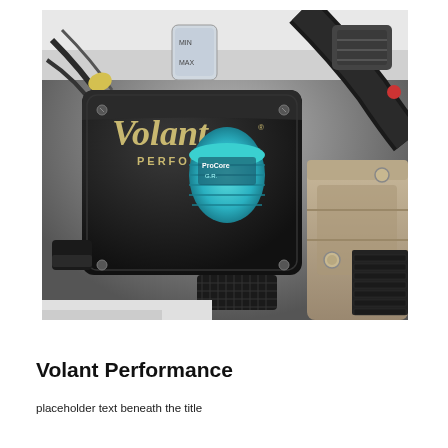[Figure (photo): Close-up photo of a Volant Performance cold air intake system installed in a vehicle engine bay. The black box-style air intake housing prominently displays the 'Volant PERFORMANCE' logo in gold/tan lettering. A ProCore or similar branded blue cylindrical air filter is visible inside the housing. Various engine components including hoses, brackets, and metal parts are visible surrounding the intake system.]
Volant Performance
placeholder text beneath the title